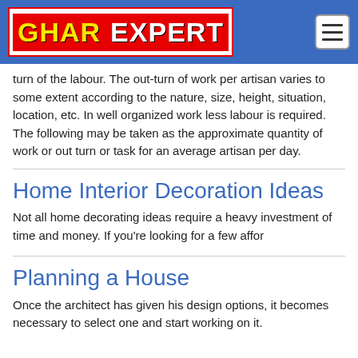GHAR EXPERT
turn of the labour. The out-turn of work per artisan varies to some extent according to the nature, size, height, situation, location, etc. In well organized work less labour is required. The following may be taken as the approximate quantity of work or out turn or task for an average artisan per day.
Home Interior Decoration Ideas
Not all home decorating ideas require a heavy investment of time and money. If you're looking for a few affor
Planning a House
Once the architect has given his design options, it becomes necessary to select one and start working on it.